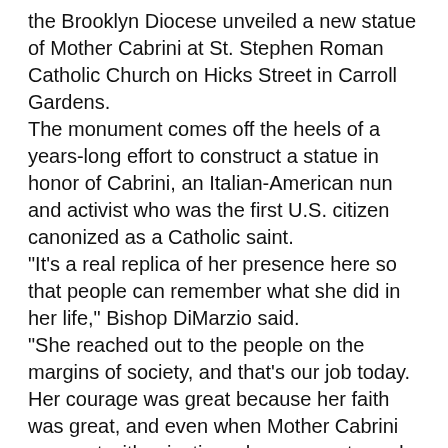the Brooklyn Diocese unveiled a new statue of Mother Cabrini at St. Stephen Roman Catholic Church on Hicks Street in Carroll Gardens. The monument comes off the heels of a years-long effort to construct a statue in honor of Cabrini, an Italian-American nun and activist who was the first U.S. citizen canonized as a Catholic saint. "It's a real replica of her presence here so that people can remember what she did in her life," Bishop DiMarzio said. "She reached out to the people on the margins of society, and that's our job today. Her courage was great because her faith was great, and even when Mother Cabrini was met with rejection, she never returned anything but love." Bishop DiMarzio performed a blessing on the new statue, which depicts Mother Cabrini helping two young children. Born in Italy in 1850, Cabrini immigrated to New York in 1899 and set to work founding a great number of hospitals, schools, and orphanages throughout the city. She is credited with helping many Italian-Americans find their